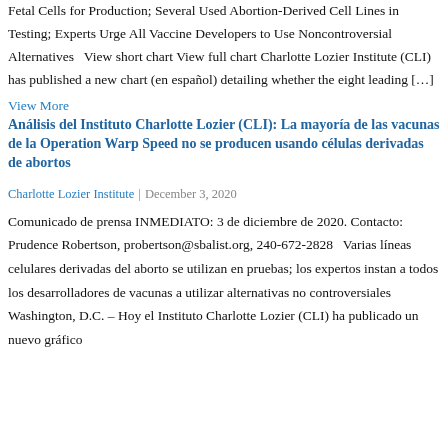Fetal Cells for Production; Several Used Abortion-Derived Cell Lines in Testing; Experts Urge All Vaccine Developers to Use Noncontroversial Alternatives   View short chart View full chart Charlotte Lozier Institute (CLI) has published a new chart (en español) detailing whether the eight leading […]
View More
Análisis del Instituto Charlotte Lozier (CLI): La mayoría de las vacunas de la Operation Warp Speed no se producen usando células derivadas de abortos
Charlotte Lozier Institute  |  December 3, 2020
Comunicado de prensa INMEDIATO: 3 de diciembre de 2020. Contacto: Prudence Robertson, probertson@sbalist.org, 240-672-2828   Varias líneas celulares derivadas del aborto se utilizan en pruebas; los expertos instan a todos los desarrolladores de vacunas a utilizar alternativas no controversiales   Washington, D.C. – Hoy el Instituto Charlotte Lozier (CLI) ha publicado un nuevo gráfico